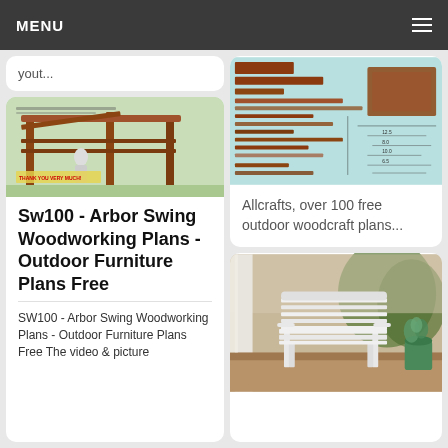MENU
yout...
[Figure (illustration): Arbor swing woodworking plan illustration showing a pergola/arbor structure with a person standing inside, in green and brown tones. Text reads THANK YOU VERY MUCH.]
Sw100 - Arbor Swing Woodworking Plans - Outdoor Furniture Plans Free
SW100 - Arbor Swing Woodworking Plans - Outdoor Furniture Plans Free The video & picture
[Figure (engineering-diagram): Woodworking plans/blueprint showing detailed assembly diagrams with measurements for outdoor furniture, drawn in brown on light blue/teal background.]
Allcrafts, over 100 free outdoor woodcraft plans...
[Figure (photo): Photo of a white outdoor garden bench/swing on a porch with a green plant/flower pot beside it, trees in background.]